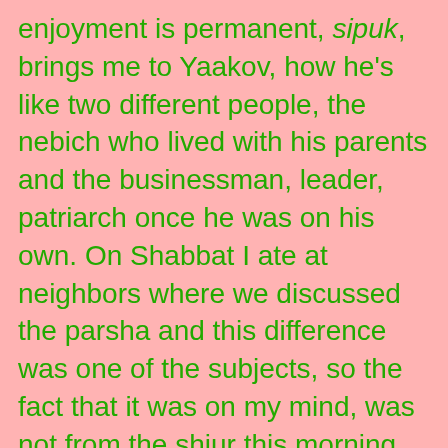enjoyment is permanent, sipuk, brings me to Yaakov, how he's like two different people, the nebich who lived with his parents and the businessman, leader, patriarch once he was on his own. On Shabbat I ate at neighbors where we discussed the parsha and this difference was one of the subjects, so the fact that it was on my mind, was not from the shiur this morning. One shouldn't get into debt for pleasure, and one shouldn't save too much. Enjoy what you have, don't suffer for tomorrow. sameach b'chelko be happy with what you have. That's being rich. The talent of enjoying what you have is a gift from G-d. Man works for himself, the work itself is the gift. In Beireishit I, 11 G-d created the trees so that the entire tree would